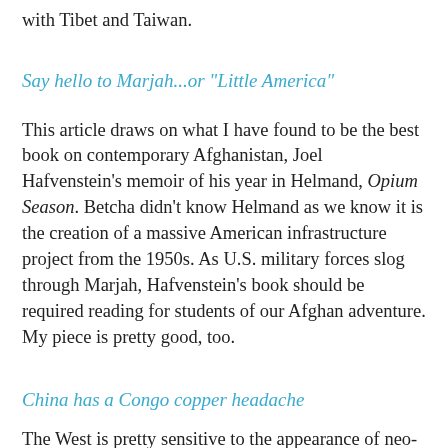with Tibet and Taiwan.
Say hello to Marjah...or "Little America"
This article draws on what I have found to be the best book on contemporary Afghanistan, Joel Hafvenstein's memoir of his year in Helmand, Opium Season. Betcha didn't know Helmand as we know it is the creation of a massive American infrastructure project from the 1950s. As U.S. military forces slog through Marjah, Hafvenstein's book should be required reading for students of our Afghan adventure. My piece is pretty good, too.
China has a Congo copper headache
The West is pretty sensitive to the appearance of neo-colonialism--except in the Democratic Republic of Congo. The DRC and its young president are regarded as, and treated as, mere creations of the West as part of its effort to clean up the colossal mess it made in the Congo. Then